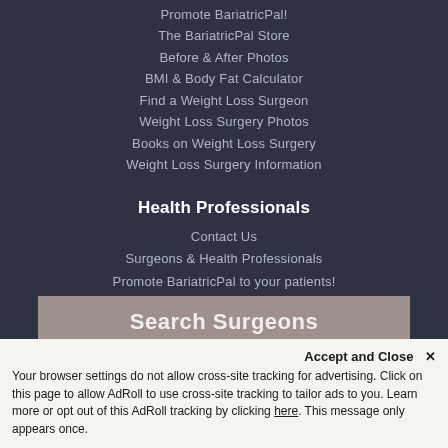Promote BariatricPal!
The BariatricPal Store
Before & After Photos
BMI & Body Fat Calculator
Find a Weight Loss Surgeon
Weight Loss Surgery Photos
Books on Weight Loss Surgery
Weight Loss Surgery Information
Health Professionals
Contact Us
Surgeons & Health Professionals
Promote BariatricPal to your patients!
[Figure (infographic): Social media icons: Facebook, Twitter, Google+, Pinterest, LinkedIn]
[Figure (other): Search Surgeons bar with beige/tan background]
Accept and Close ×
Your browser settings do not allow cross-site tracking for advertising. Click on this page to allow AdRoll to use cross-site tracking to tailor ads to you. Learn more or opt out of this AdRoll tracking by clicking here. This message only appears once.